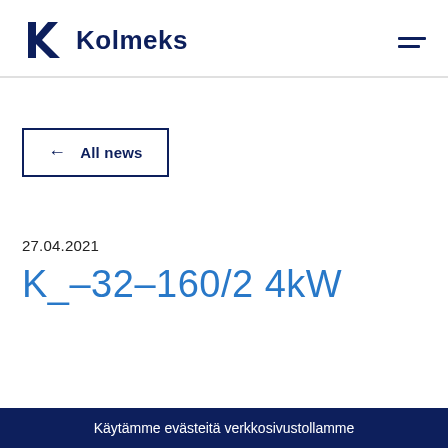Kolmeks
← All news
27.04.2021
K_–32–160/2 4kW
Käytämme evästeitä verkkosivustollamme